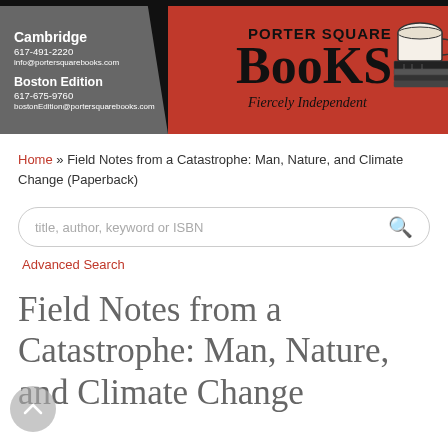[Figure (logo): Porter Square Books banner with grey left panel showing Cambridge and Boston Edition contact info, and red right panel with 'Porter Square Books - Fiercely Independent' logo with stacked books and coffee cup illustration]
Home » Field Notes from a Catastrophe: Man, Nature, and Climate Change (Paperback)
title, author, keyword or ISBN
Advanced Search
Field Notes from a Catastrophe: Man, Nature, and Climate Change